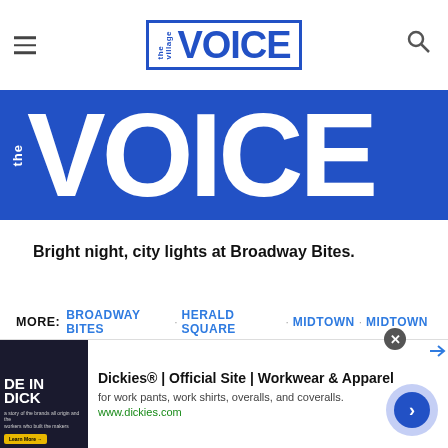The Village Voice navigation bar with logo
[Figure (logo): The Village Voice logo banner — large white VOICE text on blue background]
Bright night, city lights at Broadway Bites.
MORE: BROADWAY BITES · HERALD SQUARE · MIDTOWN · MIDTOWN LUNCH · STREET FOOD
[Figure (other): Dickies advertisement banner: Dickies® | Official Site | Workwear & Apparel — for work pants, work shirts, overalls, and coveralls. www.dickies.com]